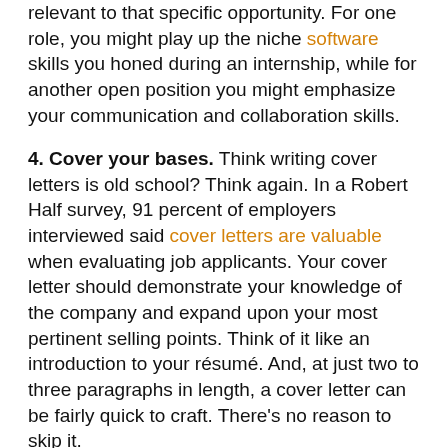relevant to that specific opportunity. For one role, you might play up the niche software skills you honed during an internship, while for another open position you might emphasize your communication and collaboration skills.
4. Cover your bases. Think writing cover letters is old school? Think again. In a Robert Half survey, 91 percent of employers interviewed said cover letters are valuable when evaluating job applicants. Your cover letter should demonstrate your knowledge of the company and expand upon your most pertinent selling points. Think of it like an introduction to your résumé. And, at just two to three paragraphs in length, a cover letter can be fairly quick to craft. There's no reason to skip it.
5. Polish your online image. Operate under the assumption that employers will search the Web for additional information about you. Clean up any digital debris floating around Facebook, Twitter or blogs. That means deleting questionable content and checking your privacy settings. Also, it's increasingly important to have a presence on LinkedIn. Students and recent college graduates represent